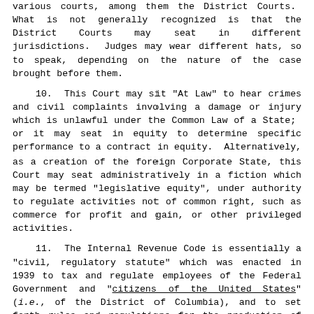United States of America gives judicial power to the various courts, among them the District Courts. What is not generally recognized is that the District Courts may seat in different jurisdictions. Judges may wear different hats, so to speak, depending on the nature of the case brought before them.
10. This Court may sit "At Law" to hear crimes and civil complaints involving a damage or injury which is unlawful under the Common Law of a State; or it may seat in equity to determine specific performance to a contract in equity. Alternatively, as a creation of the foreign Corporate State, this Court may seat administratively in a fiction which may be termed "legislative equity", under authority to regulate activities not of common right, such as commerce for profit and gain, or other privileged activities.
11. The Internal Revenue Code is essentially a "civil, regulatory statute" which was enacted in 1939 to tax and regulate employees of the Federal Government and "citizens of the United States" (i.e., of the District of Columbia), and to set forth rules and regulations for the production of revenue for the "United States", as defined in the U.S. Constitution.
12. It is an unlawful abuse of procedure to use civil statutes as "evidence of the law" in a